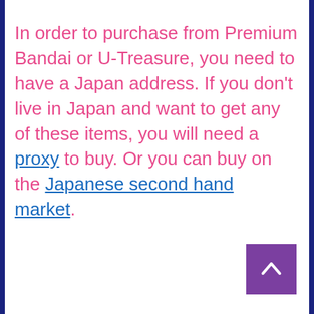In order to purchase from Premium Bandai or U-Treasure, you need to have a Japan address. If you don't live in Japan and want to get any of these items, you will need a proxy to buy. Or you can buy on the Japanese second hand market.